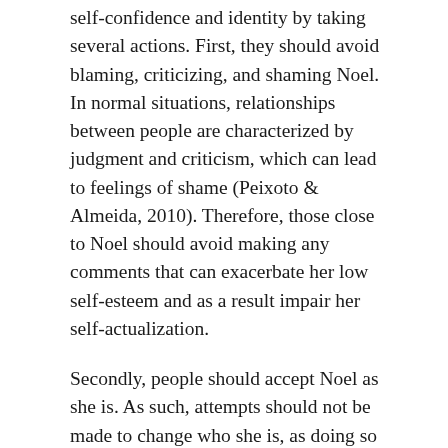self-confidence and identity by taking several actions. First, they should avoid blaming, criticizing, and shaming Noel. In normal situations, relationships between people are characterized by judgment and criticism, which can lead to feelings of shame (Peixoto & Almeida, 2010). Therefore, those close to Noel should avoid making any comments that can exacerbate her low self-esteem and as a result impair her self-actualization.
Secondly, people should accept Noel as she is. As such, attempts should not be made to change who she is, as doing so would farther worsen her self-esteem. Therefore, her close associates should accept her personality, including accepting her traits. Thirdly, her loved ones should praise her genuinely. In any case, there is need to speak to her genuine words of appreciation to show her love and encourage her to do what she does. Moreover, appreciation will make Noel feel valued and as